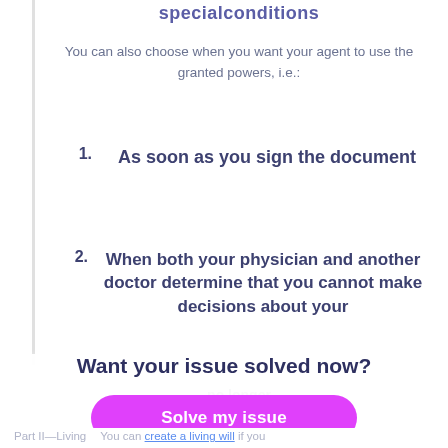special conditions
You can also choose when you want your agent to use the granted powers, i.e.:
1. As soon as you sign the document
2. When both your physician and another doctor determine that you cannot make decisions about your
Want your issue solved now?
Solve my issue
Part II—Living
You can create a living will if you